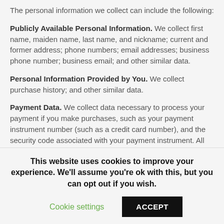The personal information we collect can include the following:
Publicly Available Personal Information. We collect first name, maiden name, last name, and nickname; current and former address; phone numbers; email addresses; business phone number; business email; and other similar data.
Personal Information Provided by You. We collect purchase history; and other similar data.
Payment Data. We collect data necessary to process your payment if you make purchases, such as your payment instrument number (such as a credit card number), and the security code associated with your payment instrument. All payment data is stored by Kids Making Sense. You may find their privacy
This website uses cookies to improve your experience. We'll assume you're ok with this, but you can opt out if you wish.
Cookie settings  ACCEPT